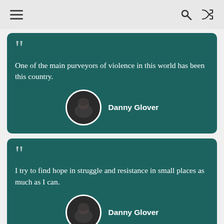Navigation header with menu, search, and shuffle icons
One of the main purveyors of violence in this world has been this country.
Danny Glover
I try to find hope in struggle and resistance in small places as much as I can.
Danny Glover